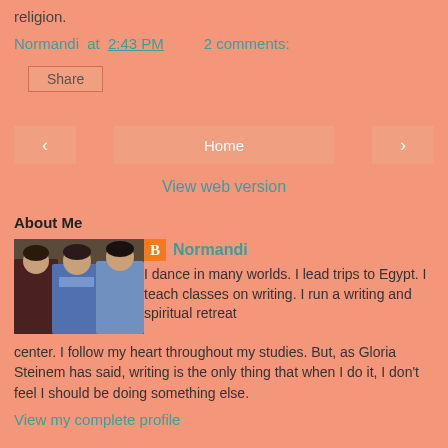religion.
Normandi at 2:43 PM    2 comments:
Share
‹   Home   ›
View web version
About Me
[Figure (photo): Photo of three women seated together]
Normandi
I dance in many worlds. I lead trips to Egypt. I teach classes on writing. I run a writing and spiritual retreat center. I follow my heart throughout my studies. But, as Gloria Steinem has said, writing is the only thing that when I do it, I don't feel I should be doing something else.
View my complete profile
Powered by Blogger.